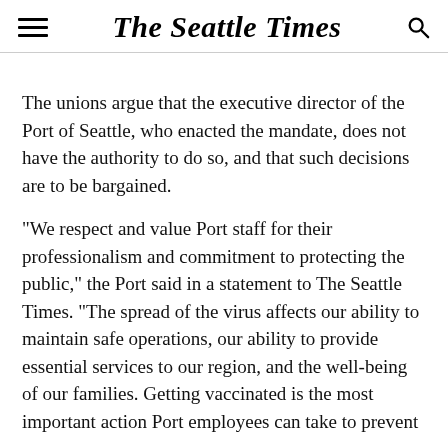The Seattle Times
The unions argue that the executive director of the Port of Seattle, who enacted the mandate, does not have the authority to do so, and that such decisions are to be bargained.
“We respect and value Port staff for their professionalism and commitment to protecting the public,” the Port said in a statement to The Seattle Times. “The spread of the virus affects our ability to maintain safe operations, our ability to provide essential services to our region, and the well-being of our families. Getting vaccinated is the most important action Port employees can take to prevent